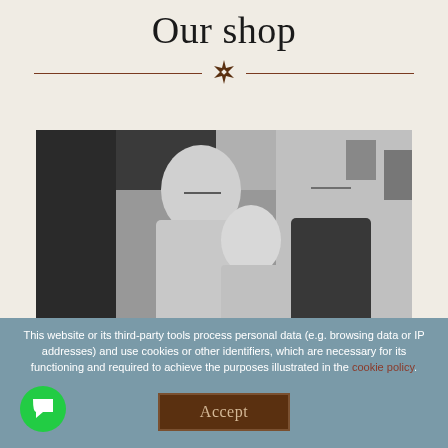Our shop
[Figure (photo): Black and white photograph of three people (two men and a woman) standing inside a shop]
This website or its third-party tools process personal data (e.g. browsing data or IP addresses) and use cookies or other identifiers, which are necessary for its functioning and required to achieve the purposes illustrated in the cookie policy.
You accept the use of cookies or other identifiers by closing or dismissing this notice, by scrolling this page, by clicking a link or button or by continuing to browse otherwise.